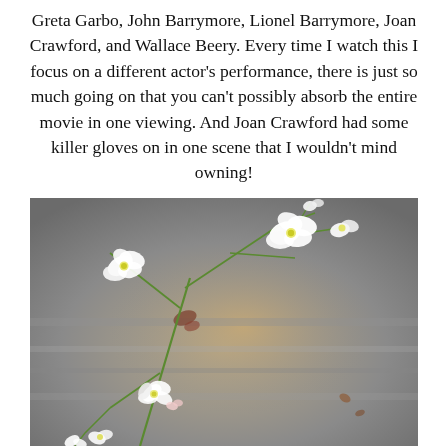Greta Garbo, John Barrymore, Lionel Barrymore, Joan Crawford, and Wallace Beery. Every time I watch this I focus on a different actor's performance, there is just so much going on that you can't possibly absorb the entire movie in one viewing. And Joan Crawford had some killer gloves on in one scene that I wouldn't mind owning!
[Figure (photo): Close-up photograph of small white wildflowers with thin green stems against a blurred gray/sandy background.]